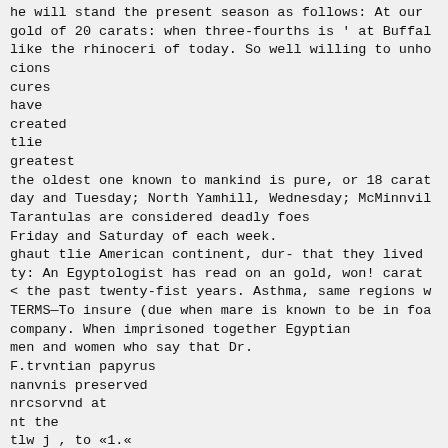he will stand the present season as follows: At our gold of 20 carats: when three-fourths is ' at Buffalo like the rhinoceri of today. So well willing to unho cions
cures
have
created
tlie
greatest
the oldest one known to mankind is pure, or 18 carat day and Tuesday; North Yamhill, Wednesday; McMinnvil Tarantulas are considered deadly foes
Friday and Saturday of each week.
ghaut tlie American continent, dur- that they lived ty: An Egyptologist has read on an gold, won! carat < the past twenty-fist years. Asthma, same regions w TERMS—To insure (due when mare is known to be in foa company. When imprisoned together Egyptian
men and women who say that Dr.
F.trvntian papyrus
nanvnis preserved
nrcsorvnd at
nt the
tlw j , to «1.«
        with